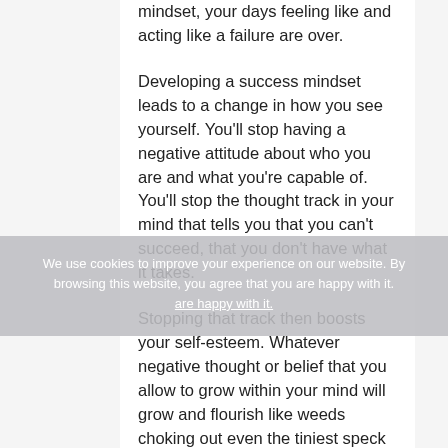mindset, your days feeling like and acting like a failure are over.
Developing a success mindset leads to a change in how you see yourself. You'll stop having a negative attitude about who you are and what you're capable of. You'll stop the thought track in your mind that tells you that you can't succeed, that you don't have what it takes.
Stopping that track then boosts your self-esteem. Whatever negative thought or belief that you allow to grow within your mind will grow and flourish like weeds choking out even the tiniest speck of good that you might believe about yourself.
When you develop a success mindset, it